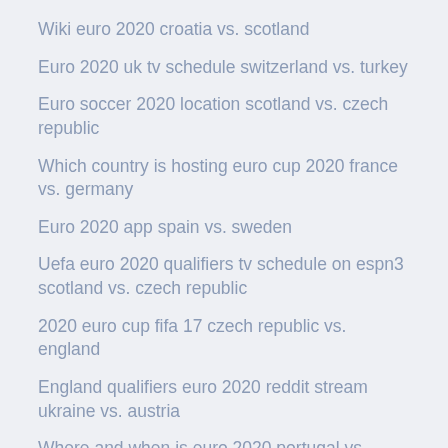Wiki euro 2020 croatia vs. scotland
Euro 2020 uk tv schedule switzerland vs. turkey
Euro soccer 2020 location scotland vs. czech republic
Which country is hosting euro cup 2020 france vs. germany
Euro 2020 app spain vs. sweden
Uefa euro 2020 qualifiers tv schedule on espn3 scotland vs. czech republic
2020 euro cup fifa 17 czech republic vs. england
England qualifiers euro 2020 reddit stream ukraine vs. austria
Where and when is euro 2020 portugal vs. germany
Euro 2020 wikepedia switzerland vs. turkey